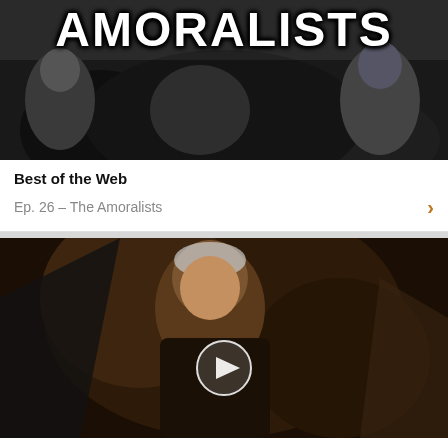[Figure (photo): Black and white photo of people with large bold text 'AMORALISTS' overlaid at top]
Best of the Web
Ep. 26 – The Amoralists
[Figure (photo): Dark cinematic photo of an elderly man with a video play button overlay in the center]
Best of the Web